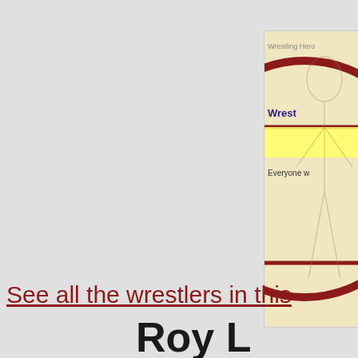[Figure (illustration): Partially visible book or poster cover showing a large dark red circle overlaid on a beige background with a human figure (wrestling-related anatomical illustration). Text visible includes 'Wrestling Hero' at top, 'Wrest' in bold dark blue/purple, a yellow highlighted band, and 'Everyone w' below it. The image is cropped at the right edge of the page.]
See all the wrestlers in this
Roy L